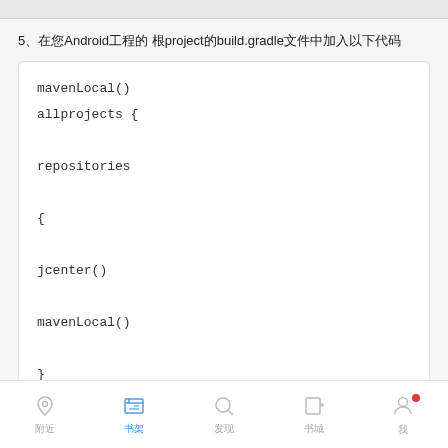5、在您Android工程的 根project的build.gradle文件中加入以下代码
mavenLocal()
allprojects {

repositories

{

jcenter()

mavenLocal()

}

}